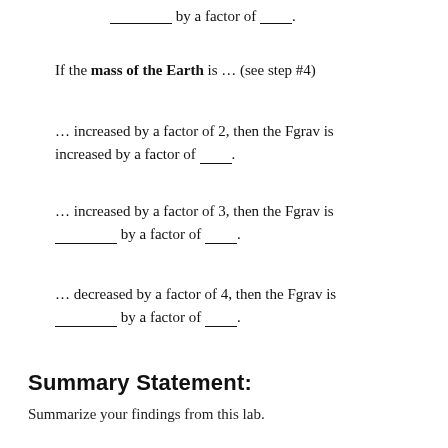__________ by a factor of ____.
If the mass of the Earth is ... (see step #4)
... increased by a factor of 2, then the Fgrav is increased by a factor of ____.
... increased by a factor of 3, then the Fgrav is __________ by a factor of ____.
... decreased by a factor of 4, then the Fgrav is __________ by a factor of ____.
Summary Statement:
Summarize your findings from this lab.